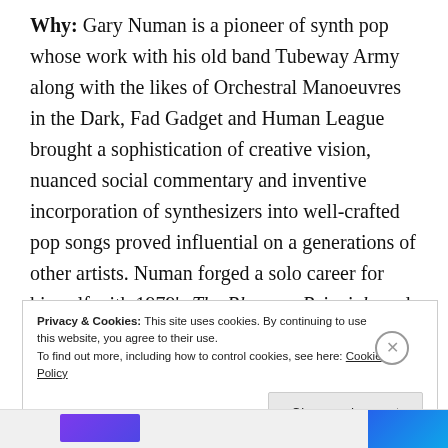Why: Gary Numan is a pioneer of synth pop whose work with his old band Tubeway Army along with the likes of Orchestral Manoeuvres in the Dark, Fad Gadget and Human League brought a sophistication of creative vision, nuanced social commentary and inventive incorporation of synthesizers into well-crafted pop songs proved influential on a generations of other artists. Numan forged a solo career for himself with 1979's The Pleasure Principle and the hit single “Cars.” Since that time Numan has reliably experimented with technology and his own songwriting approach in ways
Privacy & Cookies: This site uses cookies. By continuing to use this website, you agree to their use.
To find out more, including how to control cookies, see here: Cookie Policy
Close and accept